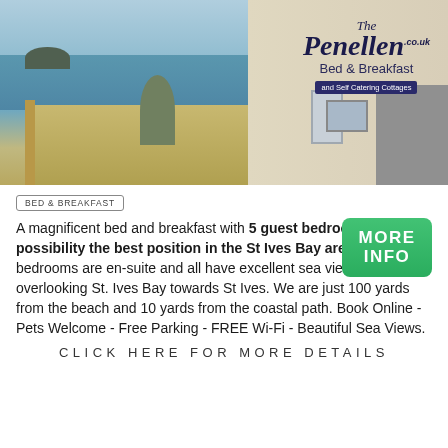[Figure (photo): Exterior photo of The Penellen Bed & Breakfast showing a sea view deck, coastal scenery with St Ives Bay, and the building facade with the Penellen logo sign]
BED & BREAKFAST
A magnificent bed and breakfast with 5 guest bedrooms in possibility the best position in the St Ives Bay area. All bedrooms are en-suite and all have excellent sea views overlooking St. Ives Bay towards St Ives. We are just 100 yards from the beach and 10 yards from the coastal path. Book Online - Pets Welcome - Free Parking - FREE Wi-Fi - Beautiful Sea Views.
MORE INFO
CLICK HERE FOR MORE DETAILS